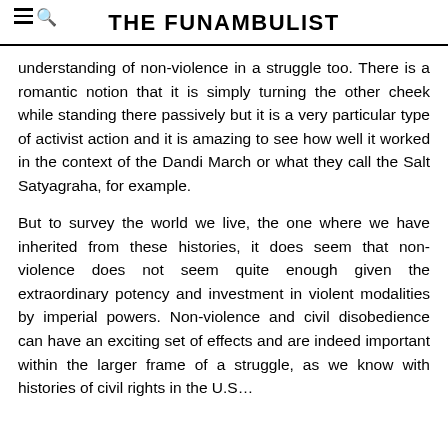THE FUNAMBULIST
understanding of non-violence in a struggle too. There is a romantic notion that it is simply turning the other cheek while standing there passively but it is a very particular type of activist action and it is amazing to see how well it worked in the context of the Dandi March or what they call the Salt Satyagraha, for example.
But to survey the world we live, the one where we have inherited from these histories, it does seem that non-violence does not seem quite enough given the extraordinary potency and investment in violent modalities by imperial powers. Non-violence and civil disobedience can have an exciting set of effects and are indeed important within the larger frame of a struggle, as we know with histories of civil rights in the U.S…